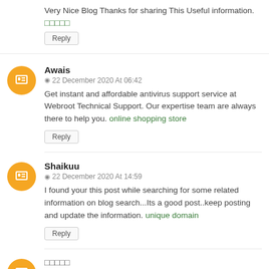Very Nice Blog Thanks for sharing This Useful information. 🟩🟩🟩🟩🟩
Reply
Awais
22 December 2020 At 06:42
Get instant and affordable antivirus support service at Webroot Technical Support. Our expertise team are always there to help you. online shopping store
Reply
Shaikuu
22 December 2020 At 14:59
I found your this post while searching for some related information on blog search...Its a good post..keep posting and update the information. unique domain
Reply
□□□□□
24 December 2020 At 08:36